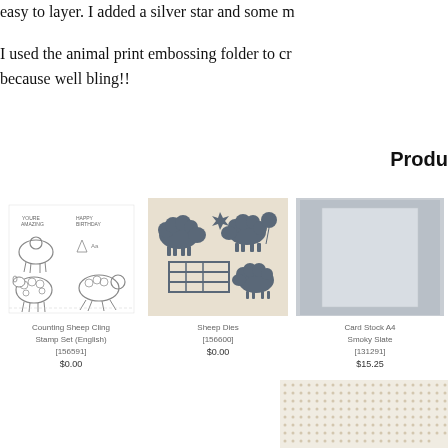easy to layer. I added a silver star and some m
I used the animal print embossing folder to cr because well bling!!
Produ
[Figure (photo): Counting Sheep Cling Stamp Set product image showing sheep stamps]
Counting Sheep Cling Stamp Set (English) [156591]
$0.00
[Figure (photo): Sheep Dies product image showing die cut sheep shapes on beige background]
Sheep Dies [156600]
$0.00
[Figure (photo): Card Stock A4 Smoky Slate product image showing grey card stock]
Card Stock A4 Smoky Slate [131291]
$15.25
[Figure (photo): Partial product image at bottom right, appears to be adhesive or embellishment sheet]